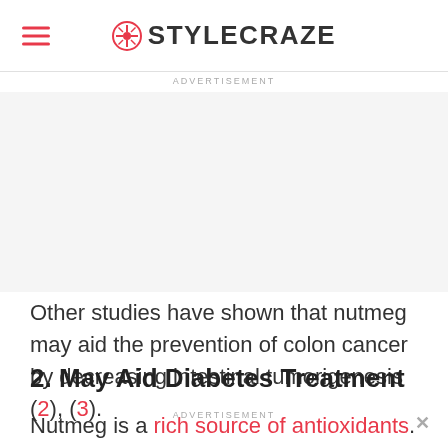STYLECRAZE
ADVERTISEMENT
Other studies have shown that nutmeg may aid the prevention of colon cancer by decreasing intestinal tumorigenesis (2), (3).
2. May Aid Diabetes Treatment
Nutmeg is a rich source of antioxidants. In rat studies, nutmeg, along with other spices, was found
ADVERTISEMENT